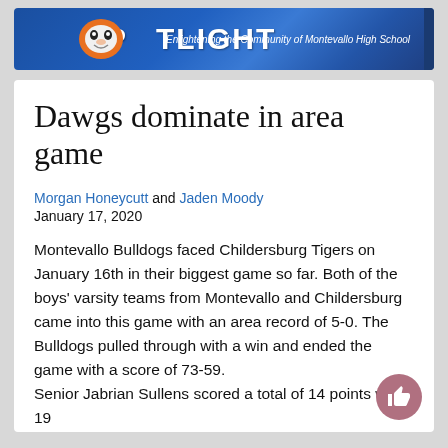[Figure (logo): Spotlight newspaper banner with blue gradient background, mascot bulldog in orange and white, text reading SPOTLIGHT and tagline Enlightening the Community of Montevallo High School]
Dawgs dominate in area game
Morgan Honeycutt and Jaden Moody
January 17, 2020
Montevallo Bulldogs faced Childersburg Tigers on January 16th in their biggest game so far. Both of the boys' varsity teams from Montevallo and Childersburg came into this game with an area record of 5-0. The Bulldogs pulled through with a win and ended the game with a score of 73-59.
Senior Jabrian Sullens scored a total of 14 points with 19